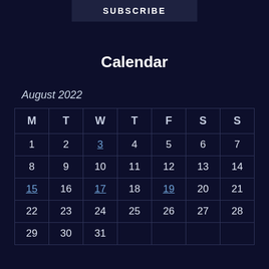SUBSCRIBE
Calendar
August 2022
| M | T | W | T | F | S | S |
| --- | --- | --- | --- | --- | --- | --- |
| 1 | 2 | 3 | 4 | 5 | 6 | 7 |
| 8 | 9 | 10 | 11 | 12 | 13 | 14 |
| 15 | 16 | 17 | 18 | 19 | 20 | 21 |
| 22 | 23 | 24 | 25 | 26 | 27 | 28 |
| 29 | 30 | 31 |  |  |  |  |